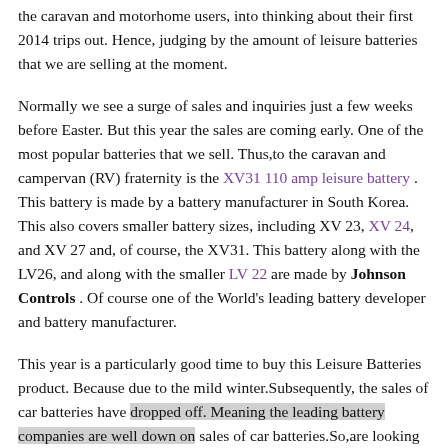the caravan and motorhome users, into thinking about their first 2014 trips out. Hence, judging by the amount of leisure batteries that we are selling at the moment.
Normally we see a surge of sales and inquiries just a few weeks before Easter. But this year the sales are coming early. One of the most popular batteries that we sell. Thus,to the caravan and campervan (RV) fraternity is the XV31 110 amp leisure battery . This battery is made by a battery manufacturer in South Korea. This also covers smaller battery sizes, including XV 23, XV 24, and XV 27 and, of course, the XV31. This battery along with the LV26, and along with the smaller LV 22 are made by Johnson Controls . Of course one of the World's leading battery developer and battery manufacturer.
This year is a particularly good time to buy this Leisure Batteries product. Because due to the mild winter.Subsequently, the sales of car batteries have dropped off. Meaning the leading battery companies are well down on sales of car batteries.So,are looking forward to the next battery season. Which includes the sale of leisure batteries,